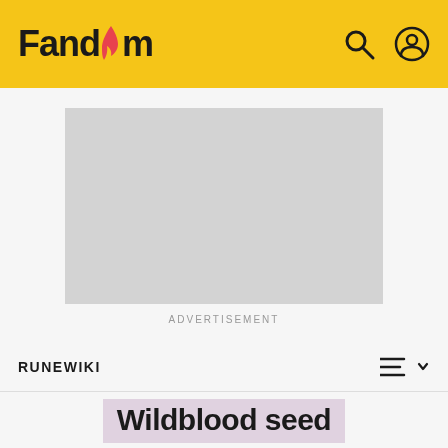Fandom
[Figure (screenshot): Advertisement placeholder area (gray rectangle)]
ADVERTISEMENT
RUNEWIKI
Wildblood seed
House of the Dragon Roars - The L...